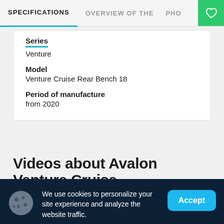SPECIFICATIONS | OVERVIEW OF THE | PHO
Series
Venture
Model
Venture Cruise Rear Bench 18
Period of manufacture
from 2020
Videos about Avalon Venture Cruise
We use cookies to personalize your site experience and analyze the website traffic.
Read more